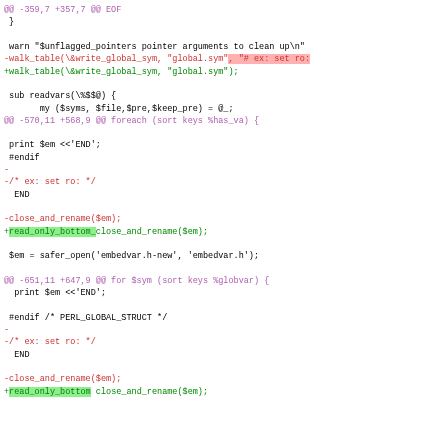[Figure (screenshot): A code diff view showing changes to a Perl script, with removed lines in red/pink and added lines in green, and diff hunk headers in magenta/purple.]